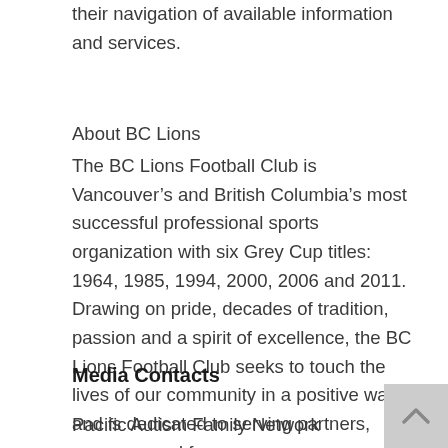their navigation of available information and services.
About BC Lions
The BC Lions Football Club is Vancouver’s and British Columbia’s most successful professional sports organization with six Grey Cup titles: 1964, 1985, 1994, 2000, 2006 and 2011. Drawing on pride, decades of tradition, passion and a spirit of excellence, the BC Lions Football Club seeks to touch the lives of our community in a positive way and is dedicated to serving partners, sponsors and fans.
Media Contacts
Pacific Autism Family Network